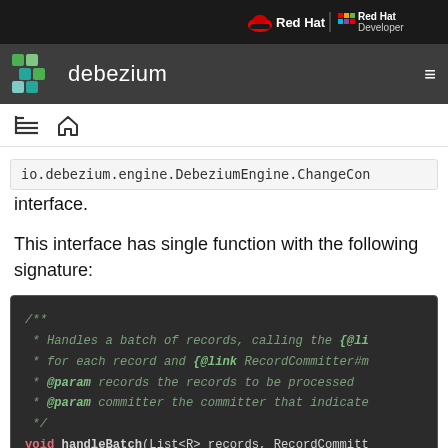Red Hat | Red Hat Developer
debezium
io.debezium.engine.DebeziumEngine.ChangeCon interface.
This interface has single function with the following signature:
[Figure (screenshot): Code block showing Javadoc comment and method signature: /** * Handles a batch of records, calling the {@li * for each record and {@link RecordCommitter#m * @param records the records to be processed * @param committer the committer that indicate */ void handleBatch(List<R> records, RecordCommitt]